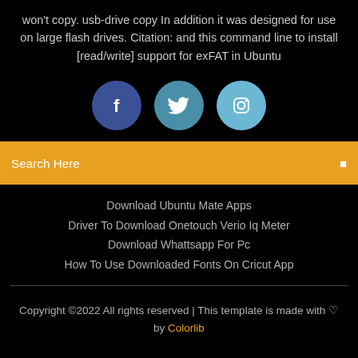won't copy. usb-drive copy In addition it was designed for use on large flash drives. Citation: and this command line to install [read/write] support for exFAT in Ubuntu
[Figure (illustration): Three social media icon circles: Facebook (dark blue), Twitter (teal/blue), Instagram (light blue)]
Search Here
Download Ubuntu Mate Apps
Driver To Download Onetouch Verio Iq Meter
Download Whattsapp For Pc
How To Use Downloaded Fonts On Cricut App
Copyright ©2022 All rights reserved | This template is made with ♡ by Colorlib